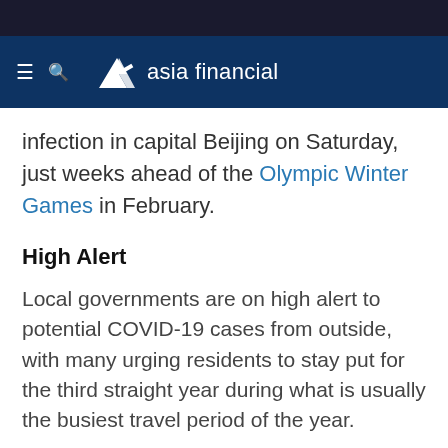asia financial
infection in capital Beijing on Saturday, just weeks ahead of the Olympic Winter Games in February.
High Alert
Local governments are on high alert to potential COVID-19 cases from outside, with many urging residents to stay put for the third straight year during what is usually the busiest travel period of the year.
China's economy likely grew at its slowest pace in 18 months in the fourth quarter, weighed down by